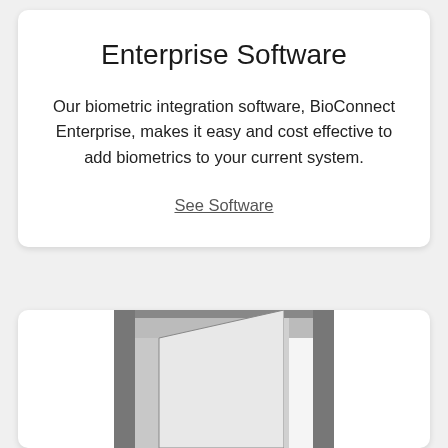Enterprise Software
Our biometric integration software, BioConnect Enterprise, makes it easy and cost effective to add biometrics to your current system.
See Software
[Figure (illustration): An open door icon rendered in gray tones, showing a doorframe with an open door panel revealing a lighter interior, partially visible at the bottom of the page.]